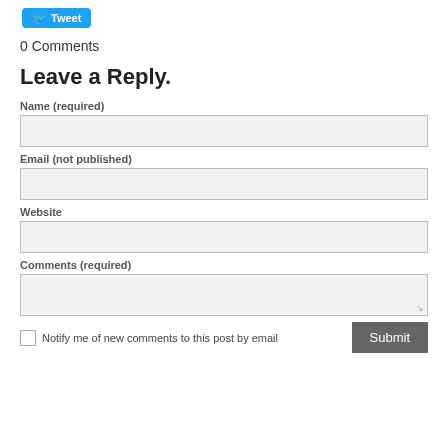[Figure (other): Twitter Tweet button with bird icon]
0 Comments
Leave a Reply.
Name (required)
Email (not published)
Website
Comments (required)
Notify me of new comments to this post by email
Submit